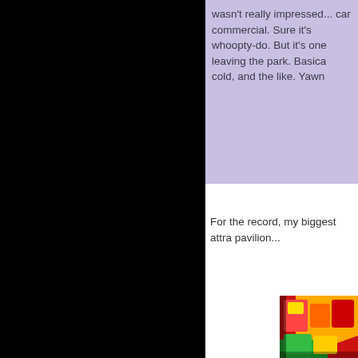wasn't really impressed... car commercial. Sure it's whoopty-do. But it's one leaving the park. Basica cold, and the like. Yawn
For the record, my biggest attra pavilion...
[Figure (photo): Colorful product display image, appears to show candy or snack packages with bright red, yellow, and green colors]